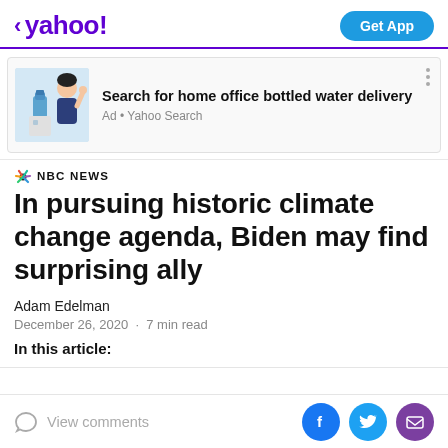< yahoo!   Get App
[Figure (screenshot): Yahoo mobile app header with purple Yahoo logo and blue Get App button]
Search for home office bottled water delivery
Ad • Yahoo Search
NBC NEWS
In pursuing historic climate change agenda, Biden may find surprising ally
Adam Edelman
December 26, 2020 · 7 min read
In this article:
View comments